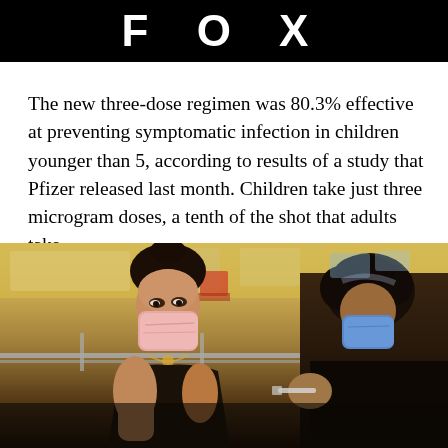FOX
The new three-dose regimen was 80.3% effective at preventing symptomatic infection in children younger than 5, according to results of a study that Pfizer released last month. Children take just three microgram doses, a tenth of the shot that adults take.
[Figure (photo): A young woman wearing a pink face mask appears to be receiving a vaccine injection in her arm. A healthcare worker wearing a blue mask is visible on the right side. The background shows a vaccination clinic setting with blurred chairs and equipment.]